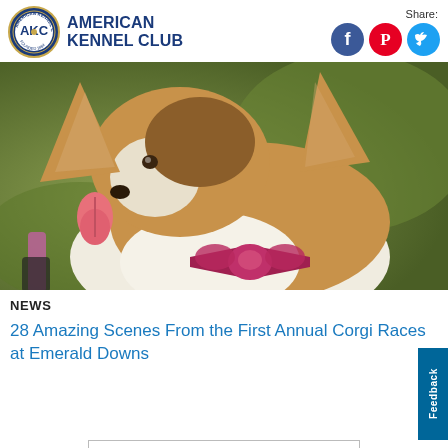[Figure (logo): American Kennel Club logo with AKC circular badge and text 'AMERICAN KENNEL CLUB']
[Figure (photo): A Corgi dog wearing a red/pink bow tie, photographed from the side with its tongue out, green blurred background]
NEWS
28 Amazing Scenes From the First Annual Corgi Races at Emerald Downs